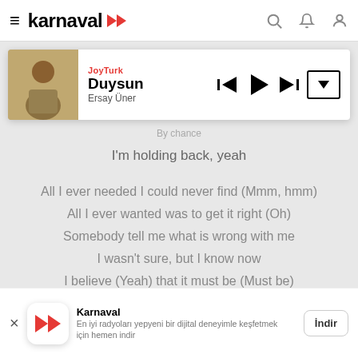karnaval
[Figure (screenshot): Karnaval music player card showing JoyTurk station, song Duysun by Ersay Üner, with playback controls (previous, play, next, dropdown)]
By chance
I'm holding back, yeah
All I ever needed I could never find (Mmm, hmm)
All I ever wanted was to get it right (Oh)
Somebody tell me what is wrong with me
I wasn't sure, but I know now
I believe (Yeah) that it must be (Must be)
Love don't love me (Oh no)
Love don't love me
Oh, I
I know exactly what is missing in my life
Something for sure and simply pure maybe a wife
But when I'm out the door before the morning light
Karnaval
En iyi radyoları yepyeni bir dijital deneyimle keşfetmek için hemen indir
İndir